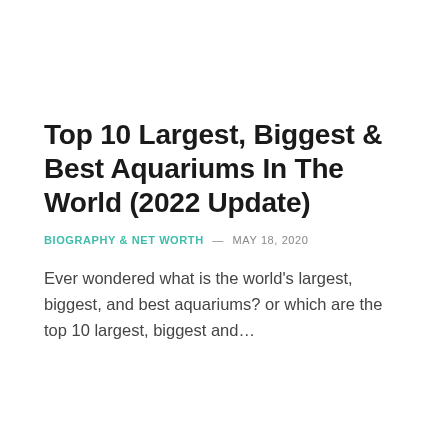Top 10 Largest, Biggest & Best Aquariums In The World (2022 Update)
BIOGRAPHY & NET WORTH  —  MAY 18, 2020
Ever wondered what is the world's largest, biggest, and best aquariums? or which are the top 10 largest, biggest and…